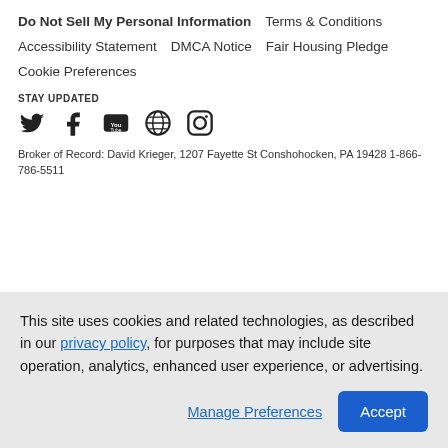Do Not Sell My Personal Information    Terms & Conditions
Accessibility Statement    DMCA Notice    Fair Housing Pledge
Cookie Preferences
STAY UPDATED
[Figure (illustration): Social media icons: Twitter, Facebook, YouTube, Globe/web, Instagram]
Broker of Record: David Krieger, 1207 Fayette St Conshohocken, PA 19428 1-866-786-5511
This site uses cookies and related technologies, as described in our privacy policy, for purposes that may include site operation, analytics, enhanced user experience, or advertising.
Manage Preferences    Accept